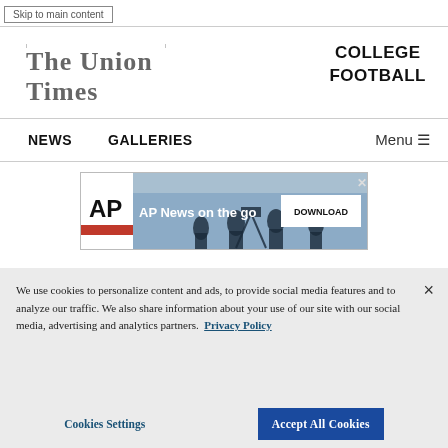Skip to main content
[Figure (logo): The Union Times newspaper logo in serif gothic font]
COLLEGE FOOTBALL
NEWS   GALLERIES   Menu
[Figure (screenshot): AP News on the go advertisement banner with silhouettes of journalists and a DOWNLOAD button]
We use cookies to personalize content and ads, to provide social media features and to analyze our traffic. We also share information about your use of our site with our social media, advertising and analytics partners. Privacy Policy
Cookies Settings
Accept All Cookies